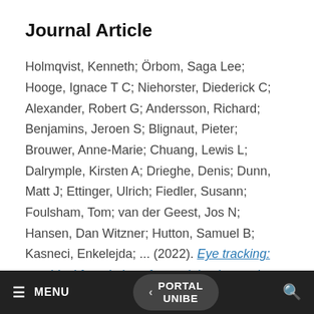Journal Article
Holmqvist, Kenneth; Örbom, Saga Lee; Hooge, Ignace T C; Niehorster, Diederick C; Alexander, Robert G; Andersson, Richard; Benjamins, Jeroen S; Blignaut, Pieter; Brouwer, Anne-Marie; Chuang, Lewis L; Dalrymple, Kirsten A; Drieghe, Denis; Dunn, Matt J; Ettinger, Ulrich; Fiedler, Susann; Foulsham, Tom; van der Geest, Jos N; Hansen, Dan Witzner; Hutton, Samuel B; Kasneci, Enkelejda; ... (2022). Eye tracking: empirical foundations for a minimal reporting
≡ MENU  < PORTAL UNIBE  🔍